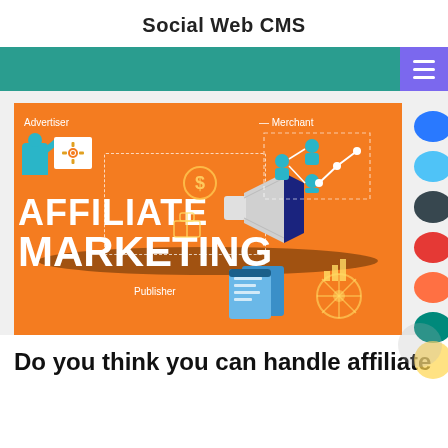Social Web CMS
[Figure (infographic): Affiliate Marketing infographic on orange background. Shows 'AFFILIATE MARKETING' in large white bold text with a megaphone graphic. Labels for Advertiser (top left with person/gear icon), Merchant (top right with network/graph icon), Publisher (bottom center with document icon). Various dashed-line boxes and a dollar sign icon. Side column of colored circles (blue, blue, dark teal, red, orange, teal, yellow).]
Do you think you can handle affiliate